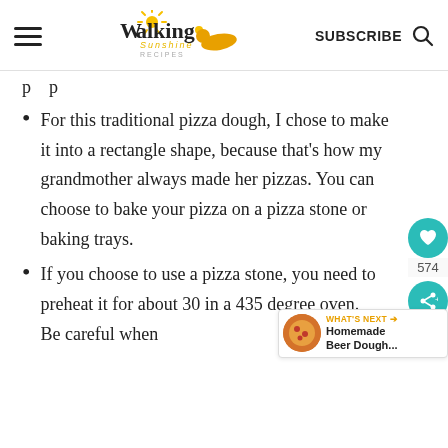Walking Sunshine Recipes — SUBSCRIBE
p p
For this traditional pizza dough, I chose to make it into a rectangle shape, because that's how my grandmother always made her pizzas. You can choose to bake your pizza on a pizza stone or baking trays.
If you choose to use a pizza stone, you need to preheat it for about 30 in a 435 degree oven. Be careful when